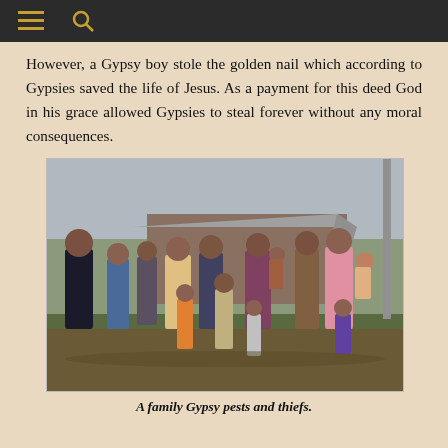However, a Gypsy boy stole the golden nail which according to Gypsies saved the life of Jesus. As a payment for this deed God in his grace allowed Gypsies to steal forever without any moral consequences.
[Figure (photo): A group of Romani family members, adults and children, standing outside a modest rural home with a metal roof.]
A family Gypsy pests and thiefs.